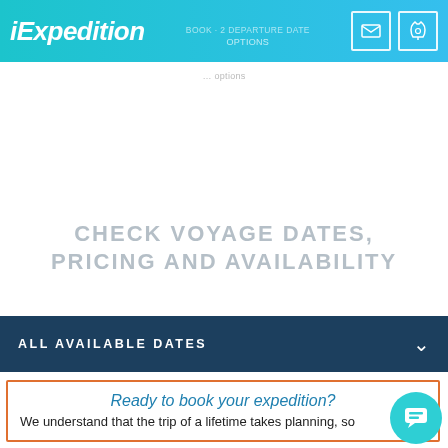iExpedition
CHECK VOYAGE DATES, PRICING AND AVAILABILITY
ALL AVAILABLE DATES
Ready to book your expedition?
We understand that the trip of a lifetime takes planning, so